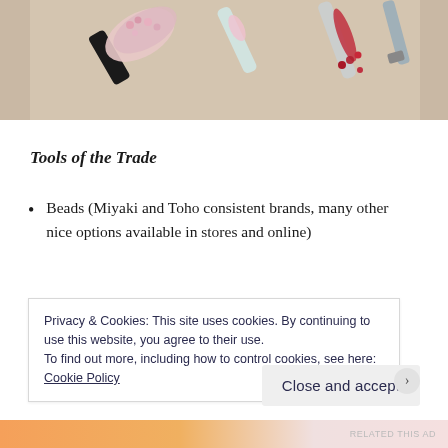[Figure (photo): Close-up photo of beading tools and small bead tubes/containers with pink, red, and clear beads on a beige background]
Tools of the Trade
Beads (Miyaki and Toho consistent brands, many other nice options available in stores and online)
Privacy & Cookies: This site uses cookies. By continuing to use this website, you agree to their use.
To find out more, including how to control cookies, see here:
Cookie Policy
Close and accept